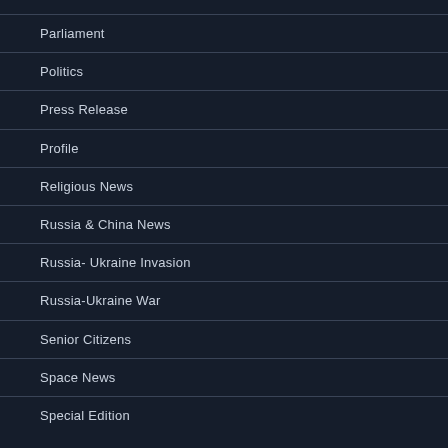Parliament
Politics
Press Release
Profile
Religious News
Russia & China News
Russia- Ukraine Invasion
Russia-Ukraine War
Senior Citizens
Space News
Special Edition